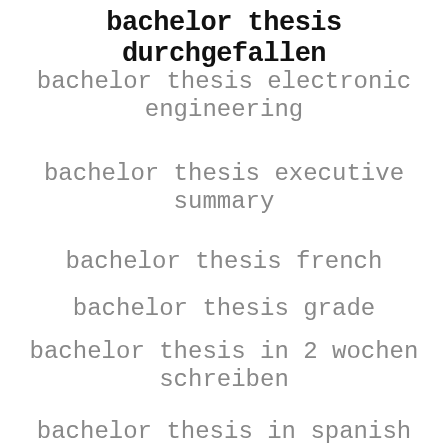bachelor thesis durchgefallen
bachelor thesis electronic engineering
bachelor thesis executive summary
bachelor thesis french
bachelor thesis grade
bachelor thesis in 2 wochen schreiben
bachelor thesis in spanish